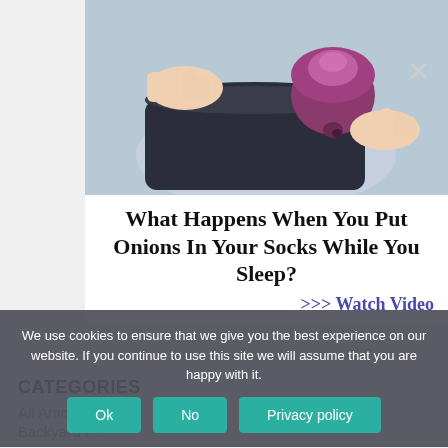[Figure (photo): Hands placing a red/purple onion inside a dark sock on a leg, on a light blue background]
What Happens When You Put Onions In Your Socks While You Sleep?
>>> Watch Video
CATEGORIES
All Articles
Backyard P…
We use cookies to ensure that we give you the best experience on our website. If you continue to use this site we will assume that you are happy with it.
Ok  No  Privacy policy